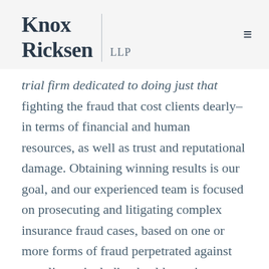Knox Ricksen LLP
trial firm dedicated to doing just that fighting the fraud that cost clients dearly–in terms of financial and human resources, as well as trust and reputational damage. Obtaining winning results is our goal, and our experienced team is focused on prosecuting and litigating complex insurance fraud cases, based on one or more forms of fraud perpetrated against our clients, including healthcare insurers, self-insured groups, and casualty and